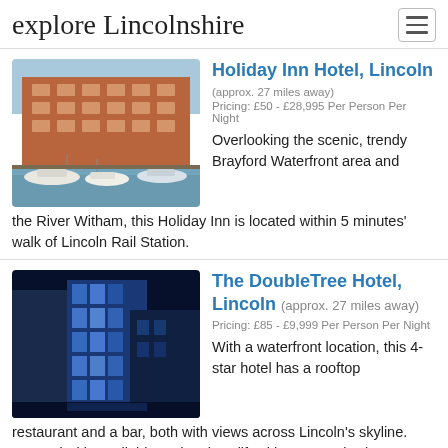explore Lincolnshire
Holiday Inn Hotel, Lincoln
(approx. 27 miles away)
Pricing: £50 - £28,995 Per Person Per Night
Overlooking the scenic, trendy Brayford Waterfront area and the River Witham, this Holiday Inn is located within 5 minutes' walk of Lincoln Rail Station.
[Figure (photo): Exterior of Holiday Inn Hotel Lincoln with brick buildings and boats moored in the foreground at the Brayford Waterfront]
The DoubleTree Hotel, Lincoln
(approx. 27 miles away)
Pricing: £85 - £9,999 Per Person Per Night
With a waterfront location, this 4-star hotel has a rooftop restaurant and a bar, both with views across Lincoln's skyline. Free Wi-Fi is available and a glass lift with panoramic city
[Figure (photo): Exterior of The DoubleTree Hotel Lincoln at night with blue illuminated modern glass facade]